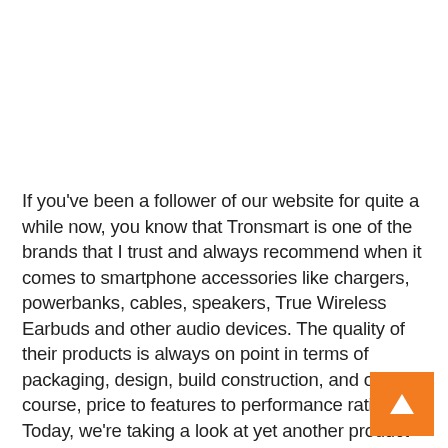If you've been a follower of our website for quite a while now, you know that Tronsmart is one of the brands that I trust and always recommend when it comes to smartphone accessories like chargers, powerbanks, cables, speakers, True Wireless Earbuds and other audio devices. The quality of their products is always on point in terms of packaging, design, build construction, and of course, price to features to performance ratio. Today, we're taking a look at yet another product from them, and this time, it's a True Wireless Earbuds that boasts a quad microphone setup for crystal clear calls and features Qualcomm's' aptX low latency,